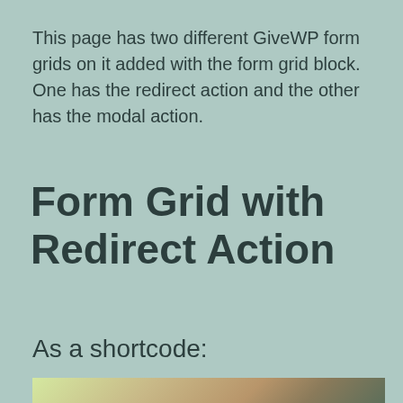This page has two different GiveWP form grids on it added with the form grid block. One has the redirect action and the other has the modal action.
Form Grid with Redirect Action
As a shortcode:
[Figure (photo): Partial view of an outdoor photograph showing what appears to be a fluffy animal or plant in the foreground with a blurred green and teal background.]